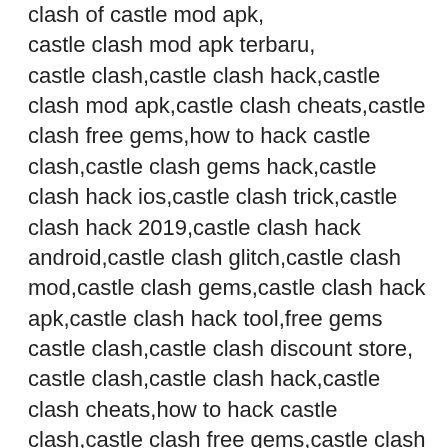clash of castle mod apk,
castle clash mod apk terbaru,
castle clash,castle clash hack,castle clash mod apk,castle clash cheats,castle clash free gems,how to hack castle clash,castle clash gems hack,castle clash hack ios,castle clash trick,castle clash hack 2019,castle clash hack android,castle clash glitch,castle clash mod,castle clash gems,castle clash hack apk,castle clash hack tool,free gems castle clash,castle clash discount store, castle clash,castle clash hack,castle clash cheats,how to hack castle clash,castle clash free gems,castle clash brave squads,castle clash: brave squads,castle clash hack ios,castle clash hack 2019,castle clash hack android,castle clash brave squads mod apk,castle clash hack apk,castle clash gems,castle